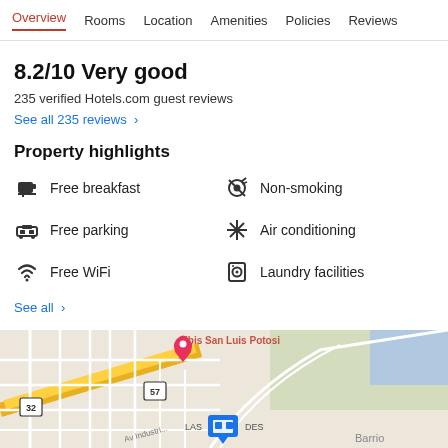Overview  Rooms  Location  Amenities  Policies  Reviews
8.2/10 Very good
235 verified Hotels.com guest reviews
See all 235 reviews  >
Property highlights
Free breakfast
Non-smoking
Free parking
Air conditioning
Free WiFi
Laundry facilities
See all  >
[Figure (map): Google map showing hotel location near route 32 and 57, Las Mercedes area, Barrio district visible]